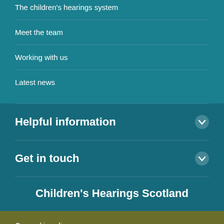The children's hearings system
Meet the team
Working with us
Latest news
Helpful information
Get in touch
Children's Hearings Scotland
Our cookie policy
Accept Cookies
Cookie Settings